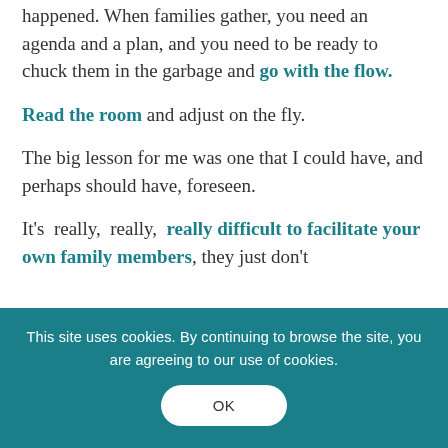happened. When families gather, you need an agenda and a plan, and you need to be ready to chuck them in the garbage and go with the flow.
Read the room and adjust on the fly.
The big lesson for me was one that I could have, and perhaps should have, foreseen.
It's really, really, really difficult to facilitate your own family members, they just don't...
This site uses cookies. By continuing to browse the site, you are agreeing to our use of cookies.
OK